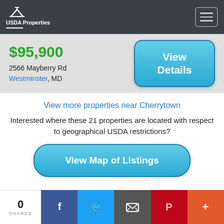USDA Properties
$95,900
2566 Mayberry Rd
Westminster, MD
View Details
View more properties near Cherrytown
Interested where these 21 properties are located with respect to geographical USDA restrictions?
View Map of Listings
0
SHARES